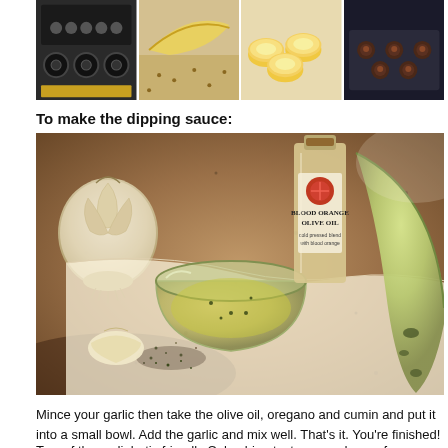[Figure (photo): Top collage strip showing four images: a stove/oven, sliced banana/plantain pieces on a surface, banana slices, and small round baked items on a baking tray]
To make the dipping sauce:
[Figure (photo): Photo of dipping sauce ingredients on a granite countertop: a glass bowl with olive oil herb mixture, a bottle of Blood Orange Olive Oil, a whole garlic bulb, garlic cloves, dried herbs/spices, and a plantain/banana]
Mince your garlic then take the olive oil, oregano and cumin and put it into a small bowl. Add the garlic and mix well. That's it. You're finished!
Two of these diabetic friendly Colombian tostones and one of